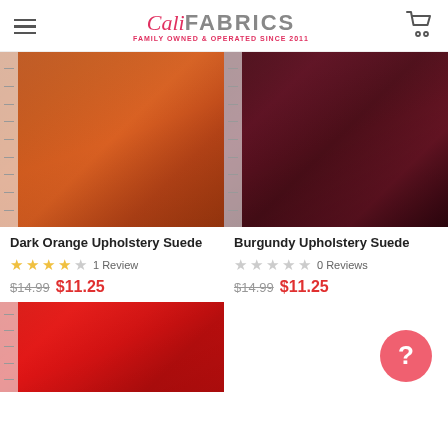Cali Fabrics — Family Owned & Operated Since 2011
[Figure (photo): Dark orange upholstery suede fabric swatch with ruler marks on left side]
Dark Orange Upholstery Suede
★★★★☆ 1 Review
$14.99  $11.25
[Figure (photo): Burgundy upholstery suede fabric swatch with ruler marks on left side]
Burgundy Upholstery Suede
★☆☆☆☆ 0 Reviews
$14.99  $11.25
[Figure (photo): Red upholstery suede fabric swatch with ruler marks on left side (partial view)]